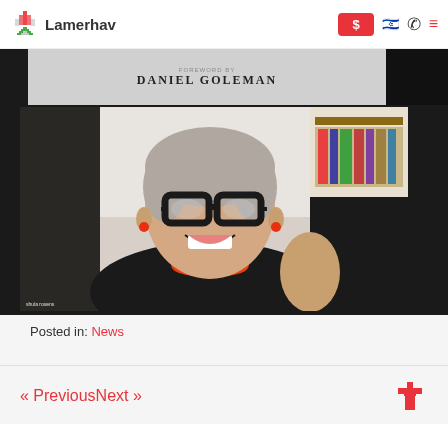Lamerhav
[Figure (screenshot): Website screenshot showing Lamerhav logo with pixelated house icon, navigation bar with dollar sign donation button, Israeli flag icon, phone icon, and hamburger menu icon]
[Figure (screenshot): Partial video thumbnail showing text 'DANIEL GOLEMAN' on a slide or book cover]
[Figure (photo): Woman with short gray hair, large black-framed glasses, red/orange beaded necklace, smiling in a video call screenshot, with a bookshelf visible in the background]
Posted in: News
« PreviousNext »